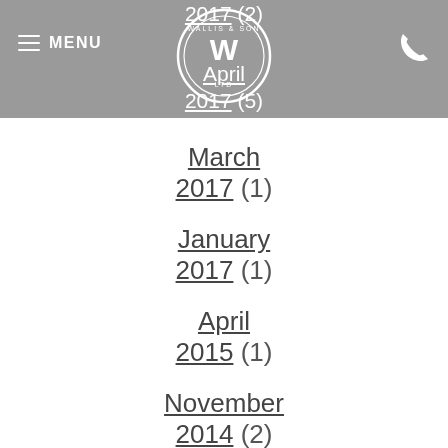MENU | Wallis & Sons Ltd logo | phone icon | 2017 (2) | April | 2017 (5)
March
2017 (1)
January
2017 (1)
April
2015 (1)
November
2014 (2)